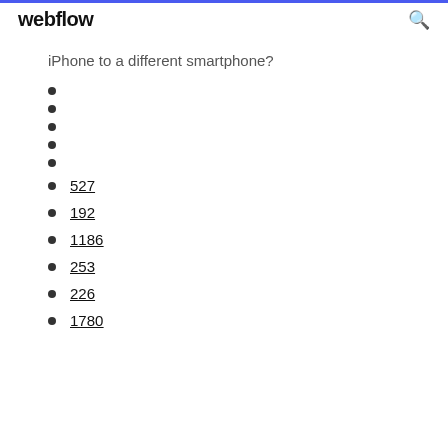webflow
iPhone to a different smartphone?
527
192
1186
253
226
1780